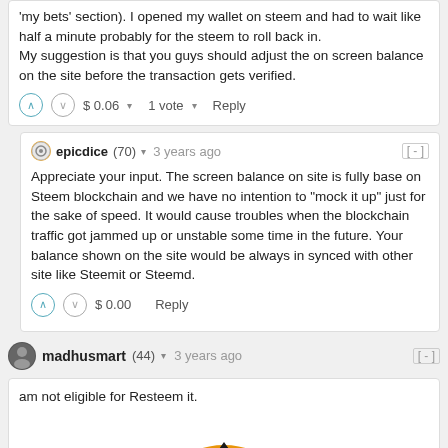my bets section). I opened my wallet on steem and had to wait like half a minute probably for the steem to roll back in.
My suggestion is that you guys should adjust the on screen balance on the site before the transaction gets verified.
$ 0.06 ▾   1 vote ▾   Reply
epicdice (70) ▾   3 years ago   [-]
Appreciate your input. The screen balance on site is fully base on Steem blockchain and we have no intention to "mock it up" just for the sake of speed. It would cause troubles when the blockchain traffic got jammed up or unstable some time in the future. Your balance shown on the site would be always in synced with other site like Steemit or Steemd.
$ 0.00   Reply
madhusmart (44) ▾   3 years ago   [-]
am not eligible for Resteem it.
[Figure (illustration): Partial view of a coin/logo graphic showing orange and black design, cropped at bottom of page]